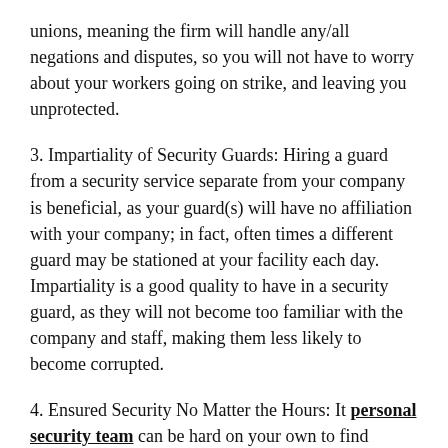unions, meaning the firm will handle any/all negations and disputes, so you will not have to worry about your workers going on strike, and leaving you unprotected.
3. Impartiality of Security Guards: Hiring a guard from a security service separate from your company is beneficial, as your guard(s) will have no affiliation with your company; in fact, often times a different guard may be stationed at your facility each day. Impartiality is a good quality to have in a security guard, as they will not become too familiar with the company and staff, making them less likely to become corrupted.
4. Ensured Security No Matter the Hours: It personal security team can be hard on your own to find security guards if you need security 24/7. A large security firm will have enough resources and